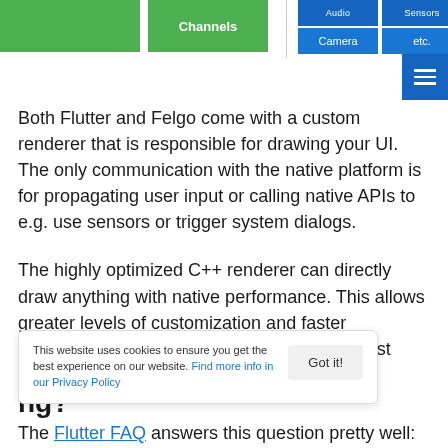[Figure (screenshot): Top portion of a UI diagram showing green boxes (one labeled 'Channels') and blue boxes labeled 'Audio', 'Sensors', 'Camera', 'etc.' with a vertical dashed divider line]
Both Flutter and Felgo come with a custom renderer that is responsible for drawing your UI. The only communication with the native platform is for propagating user input or calling native APIs to e.g. use sensors or trigger system dialogs.
The highly optimized C++ renderer can directly draw anything with native performance. This allows greater levels of customization and faster performances. This approach is similar to most game engines on the market today.
This website uses cookies to ensure you get the best experience on our website. Find more info in our Privacy Policy
ng?
The Flutter FAQ answers this question pretty well: